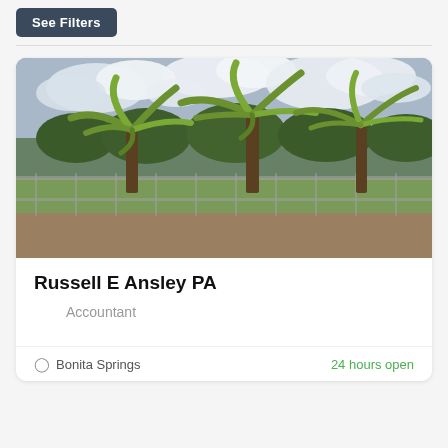[Figure (other): Button labeled 'See Filters' with dark navy background]
[Figure (photo): Street view photo of palm trees behind a chain-link fence with green grass and cloudy sky]
Russell E Ansley PA
Accountant
Bonita Springs
24 hours open